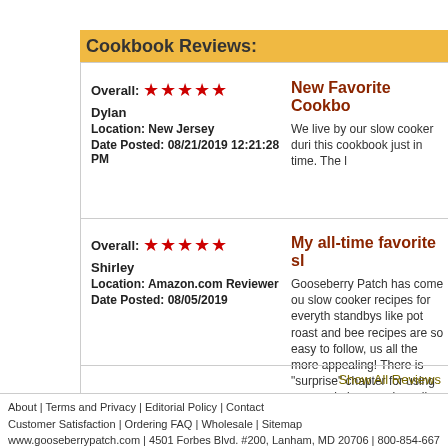Cookbook Reviews:
Overall: ★★★★★
Dylan
Location: New Jersey
Date Posted: 08/21/2019 12:21:28 PM
New Favorite Cookbook
We live by our slow cooker duri this cookbook just in time. The l
Overall: ★★★★★
Shirley
Location: Amazon.com Reviewer
Date Posted: 08/05/2019
My all-time favorite sl
Gooseberry Patch has come ou slow cooker recipes for everyth standbys like pot roast and bee recipes are so easy to follow, us all the more appealing! There is "surprise" chapter for using you made in a can is really good! Th reference book for slow cookin that I want to try soon! Thank ye
Show All Reviews
About | Terms and Privacy | Editorial Policy | Contact
Customer Satisfaction | Ordering FAQ | Wholesale | Sitemap
www.gooseberrypatch.com | 4501 Forbes Blvd. #200, Lanham, MD 20706 | 800-854-667
©2022 Gooseberry Patch | All rights reserved.